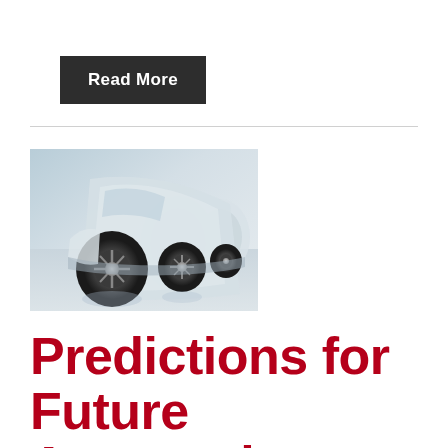Read More
[Figure (photo): A row of white cars in a showroom or dealership, viewed from a low angle showing the wheels and front bumpers, with a reflective floor.]
Predictions for Future Automotive Motal